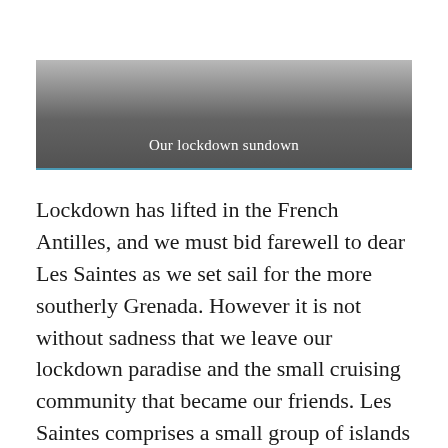Our lockdown sundown
Lockdown has lifted in the French Antilles, and we must bid farewell to dear Les Saintes as we set sail for the more southerly Grenada. However it is not without sadness that we leave our lockdown paradise and the small cruising community that became our friends. Les Saintes comprises a small group of islands just south of Guadeloupe and has been our haven in a world gone mad, and our home for the past two and a half months. As we grew close to our